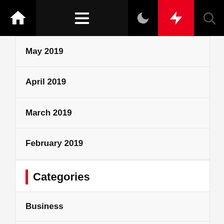Navigation bar with home, menu, moon, lightning, and search icons
May 2019
April 2019
March 2019
February 2019
January 2019
December 2018
Categories
Business
Business Entrepreneur